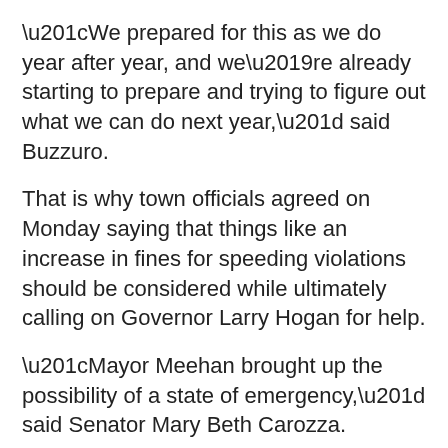“We prepared for this as we do year after year, and we’re already starting to prepare and trying to figure out what we can do next year,” said Buzzuro.
That is why town officials agreed on Monday saying that things like an increase in fines for speeding violations should be considered while ultimately calling on Governor Larry Hogan for help.
“Mayor Meehan brought up the possibility of a state of emergency,” said Senator Mary Beth Carozza.
“We will do whatever it takes to protect the people, the residents, the visitors of Ocean City,” said Carozza.
“The process never ends,” said Buzzuro.